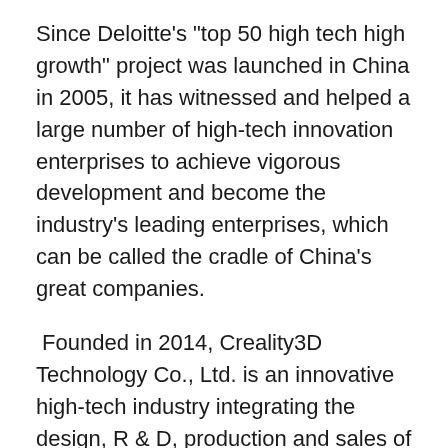Since Deloitte's "top 50 high tech high growth" project was launched in China in 2005, it has witnessed and helped a large number of high-tech innovation enterprises to achieve vigorous development and become the industry's leading enterprises, which can be called the cradle of China's great companies.
Founded in 2014, Creality3D Technology Co., Ltd. is an innovative high-tech industry integrating the design, R & D, production and sales of 3D printers, 3D scanners and 3D printer consumables. Continuous innovation is the cornerstone of the development of high-tech enterprises. As a new star in the field of 3D printing, Creality3D always pays attention to the needs of users and changes of the industry, pays attention to technological innovation and operation management internally. In the foreseeable future, we